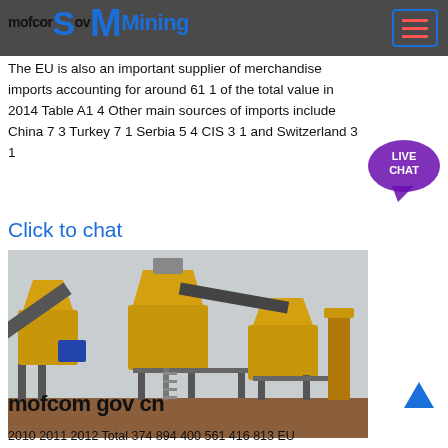mofcom gov M Mining
The EU is also an important supplier of merchandise imports accounting for around 61 1 of the total value in 2014 Table A1 4 Other main sources of imports include China 7 3 Turkey 7 1 Serbia 5 4 CIS 3 1 and Switzerland 3 1
Click to chat
[Figure (photo): Industrial mining crushing plant machinery with yellow/gold colored cone crushers and conveyor belts on a scaffold structure, set against a light sky background with reddish-brown ground]
mofcom gov cn
2010 2011 2012 Total 374 894 400 561 416 813 EU